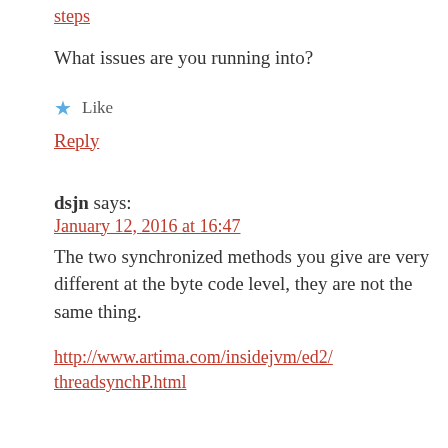steps
What issues are you running into?
★ Like
Reply
dsjn says:
January 12, 2016 at 16:47
The two synchronized methods you give are very different at the byte code level, they are not the same thing.
http://www.artima.com/insidejvm/ed2/threadsynchP.html